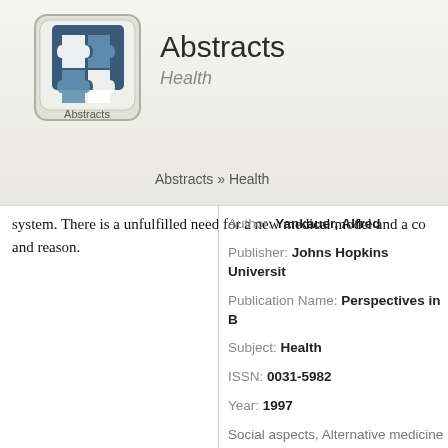[Figure (logo): Abstracts puzzle-piece logo on a keyboard key shape with 'Abstracts' text below]
Abstracts
Health
Abstracts » Health
system. There is a unfulfilled need for a new medical model and a co and reason.
Author: Yankauer, Alfred
Publisher: Johns Hopkins Universit
Publication Name: Perspectives in B
Subject: Health
ISSN: 0031-5982
Year: 1997
Social aspects, Alternative medicine